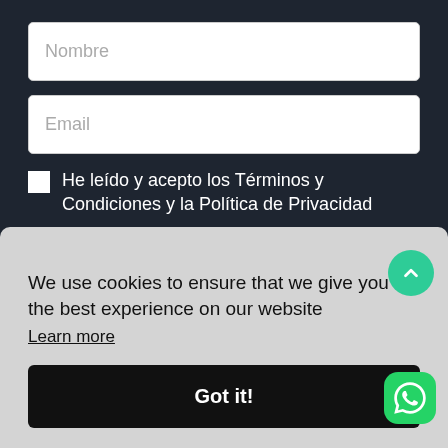[Figure (screenshot): Form input field with placeholder text 'Nombre']
[Figure (screenshot): Form input field with placeholder text 'Email']
He leído y acepto los Términos y Condiciones y la Política de Privacidad
Términos y Condiciones & Política de Privacidad
We use cookies to ensure that we give you the best experience on our website
Learn more
Got it!